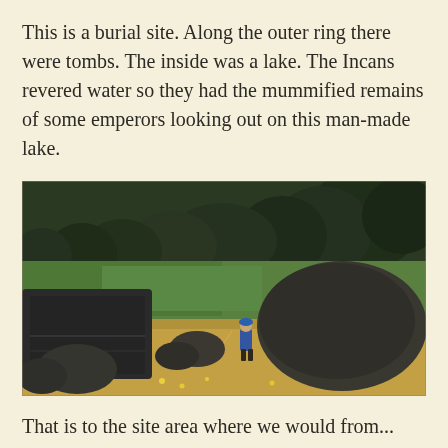This is a burial site. Along the outer ring there were tombs. The inside was a lake. The Incans revered water so they had the mummified remains of some emperors looking out on this man-made lake.
[Figure (photo): Outdoor photo of an ancient Incan burial site showing large dark stone tombs and boulders in a field with dry yellow grass and wildflowers, a person standing between the stones, green fields and dense dark trees in the background under an overcast sky.]
That is to the site area where we would from...